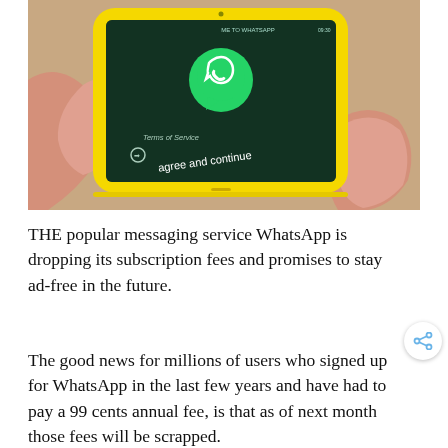[Figure (photo): A hand holding a yellow-cased smartphone displaying the WhatsApp app launch screen with the WhatsApp logo (green speech bubble with phone icon), 'Terms of Service', and 'agree and continue' text on a dark green background.]
THE popular messaging service WhatsApp is dropping its subscription fees and promises to stay ad-free in the future.
The good news for millions of users who signed up for WhatsApp in the last few years and have had to pay a 99 cents annual fee, is that as of next month those fees will be scrapped.